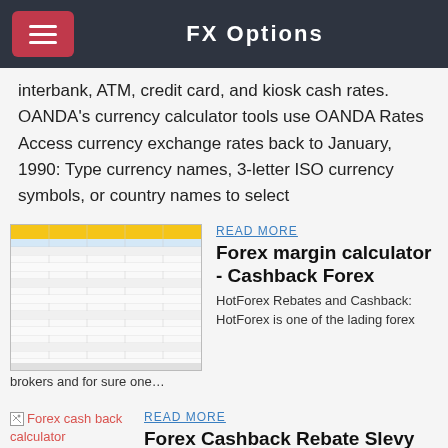FX Options
interbank, ATM, credit card, and kiosk cash rates. OANDA's currency calculator tools use OANDA Rates Access currency exchange rates back to January, 1990: Type currency names, 3-letter ISO currency symbols, or country names to select
[Figure (screenshot): Screenshot of a forex spreadsheet showing margin calculator data in tabular format]
READ MORE
Forex margin calculator - Cashback Forex
HotForex Rebates and Cashback: HotForex is one of the lading forex brokers and for sure one…
[Figure (photo): Broken image placeholder labeled 'Forex cash back calculator']
READ MORE
Forex Cashback Rebate Slevy